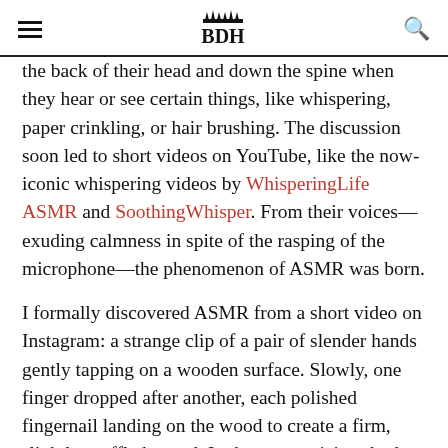BDH
the back of their head and down the spine when they hear or see certain things, like whispering, paper crinkling, or hair brushing. The discussion soon led to short videos on YouTube, like the now-iconic whispering videos by WhisperingLife ASMR and SoothingWhisper. From their voices—exuding calmness in spite of the rasping of the microphone—the phenomenon of ASMR was born.
I formally discovered ASMR from a short video on Instagram: a strange clip of a pair of slender hands gently tapping on a wooden surface. Slowly, one finger dropped after another, each polished fingernail landing on the wood to create a firm, slightly muffled sound. In the mesmerizing rhythm of tapping, the same relaxing feeling...